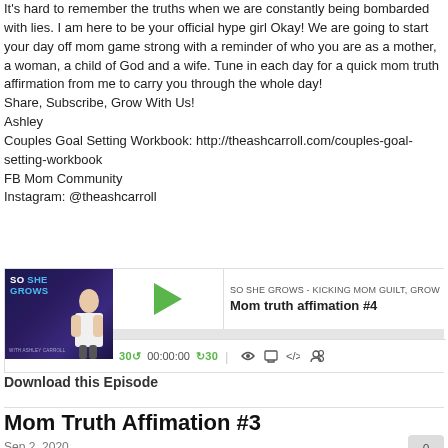It's hard to remember the truths when we are constantly being bombarded with lies. I am here to be your official hype girl Okay! We are going to start your day off mom game strong with a reminder of who you are as a mother, a woman, a child of God and a wife. Tune in each day for a quick mom truth affirmation from me to carry you through the whole day!
Share, Subscribe, Grow With Us!
Ashley
Couples Goal Setting Workbook: http://theashcarroll.com/couples-goal-setting-workbook
FB Mom Community
Instagram: @theashcarroll
[Figure (screenshot): Podcast player widget for 'So She Grows - Kicking Mom Guilt, Grow' showing episode 'Mom truth affimation #4' with play button, progress bar, and playback controls showing 00:00:00]
Download this Episode
Mom Truth Affimation #3
Sep 2, 2020
It's hard to remember the truths when we are constantly being bombarded with lies. I am here to be your official hype girl Okay! We are going to start